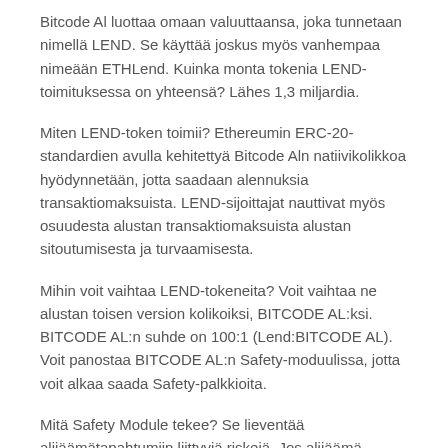Bitcode Al luottaa omaan valuuttaansa, joka tunnetaan nimellä LEND. Se käyttää joskus myös vanhempaa nimeään ETHLend. Kuinka monta tokenia LEND-toimituksessa on yhteensä? Lähes 1,3 miljardia.
Miten LEND-token toimii? Ethereumin ERC-20-standardien avulla kehitettyä Bitcode Aln natiivikolikkoa hyödynnetään, jotta saadaan alennuksia transaktiomaksuista. LEND-sijoittajat nauttivat myös osuudesta alustan transaktiomaksuista alustan sitoutumisesta ja turvaamisesta.
Mihin voit vaihtaa LEND-tokeneita? Voit vaihtaa ne alustan toisen version kolikoiksi, BITCODE AL:ksi. BITCODE AL:n suhde on 100:1 (Lend:BITCODE AL). Voit panostaa BITCODE AL:n Safety-moduulissa, jotta voit alkaa saada Safety-palkkioita.
Mitä Safety Module tekee? Se lieventää alijäämätapahtumiin liittyviä riskejä. Jos alijäämä syntyy, 30 prosenttia panostetuista tokeneista käytetään alijäämän kattamiseen.
Missä Safety-palkkiot on rajattu? 400 Bitcode Alen päivässä.